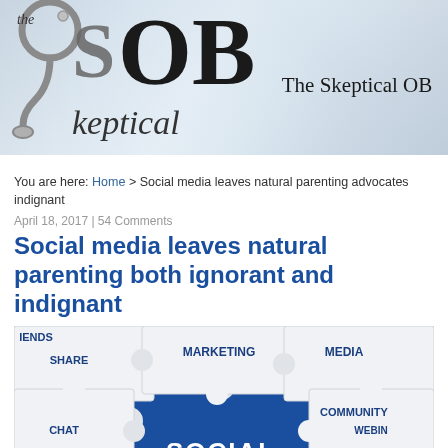[Figure (logo): The Skeptical OB website header banner with logo showing stethoscope, large S and OB letters, cursive 'keptical' text, and site title 'The Skeptical OB' on crumpled paper background]
You are here: Home > Social media leaves natural parenting advocates indignant
April 18, 2017 | 54 Comments
Social media leaves natural parenting both ignorant and indignant
[Figure (photo): Photo of interlocking puzzle pieces, white pieces with social media related words (MARKETING, SHARE, MEDIA, FRIENDS, COMMUNITY, WEBINAR, CHAT) and a blue center piece with the word SOCIAL]